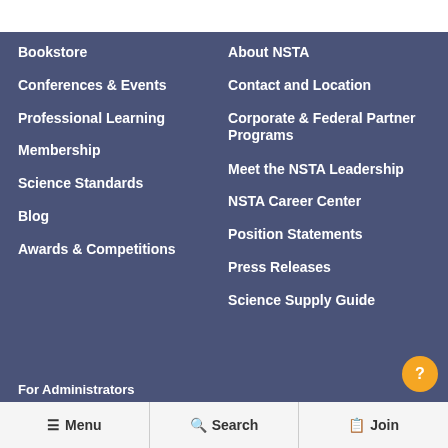Bookstore
Conferences & Events
Professional Learning
Membership
Science Standards
Blog
Awards & Competitions
About NSTA
Contact and Location
Corporate & Federal Partner Programs
Meet the NSTA Leadership
NSTA Career Center
Position Statements
Press Releases
Science Supply Guide
For Administrators
Menu  Search  Join